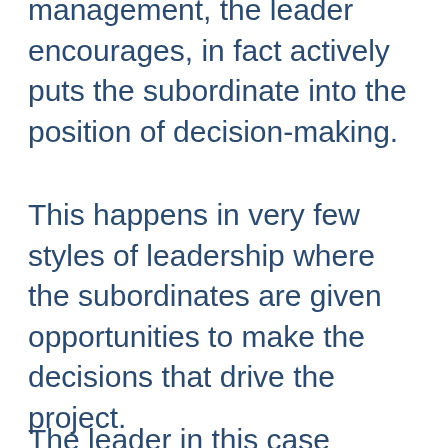management, the leader encourages, in fact actively puts the subordinate into the position of decision-making.
This happens in very few styles of leadership where the subordinates are given opportunities to make the decisions that drive the project.
The leader in this case renounced their responsibilities and allowed the employees to partake and make decisions.
This often goes south when the group lacks directions due to this or they